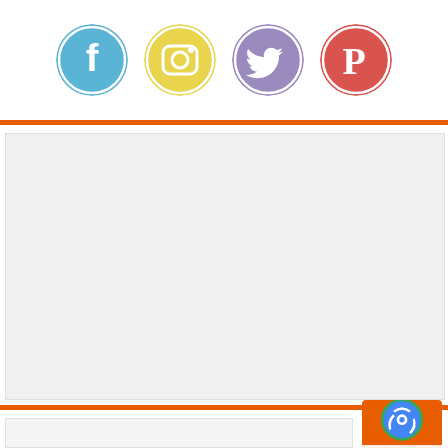[Figure (illustration): Four social media icon circles: Facebook (blue), Instagram (yellow), Twitter (purple), Pinterest (red)]
[Figure (illustration): Large light gray content/advertisement placeholder box]
[Figure (illustration): reCAPTCHA badge with orange background and up-arrow scroll button, showing Privacy and Terms text]
[Figure (illustration): Small light gray bar at the bottom of the page]